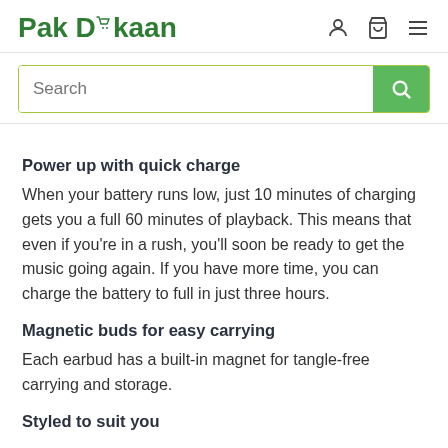Pak Dukaan
Search
Power up with quick charge
When your battery runs low, just 10 minutes of charging gets you a full 60 minutes of playback. This means that even if you're in a rush, you'll soon be ready to get the music going again. If you have more time, you can charge the battery to full in just three hours.
Magnetic buds for easy carrying
Each earbud has a built-in magnet for tangle-free carrying and storage.
Styled to suit you